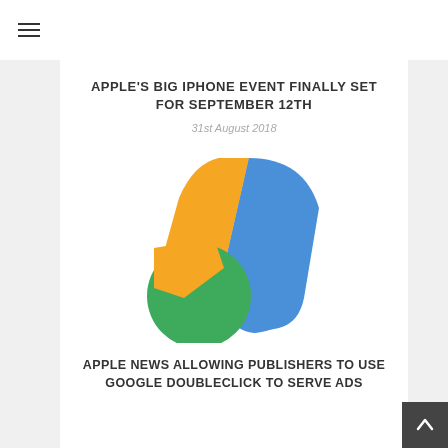[Figure (logo): Apple logo partially visible at top center, pink/red color]
☰ (hamburger menu icon)
APPLE'S BIG IPHONE EVENT FINALLY SET FOR SEPTEMBER 12TH
31st August 2018
[Figure (logo): Google AdWords logo: yellow left leg, blue right leg forming an A shape, green circle at lower left]
APPLE NEWS ALLOWING PUBLISHERS TO USE GOOGLE DOUBLECLICK TO SERVE ADS